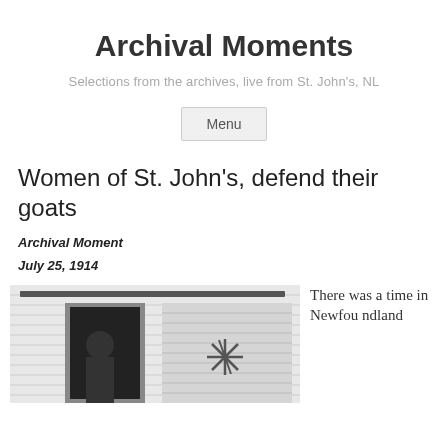Archival Moments
Selections from the archives, live from St. John's, NL
Menu
Women of St. John's, defend their goats
Archival Moment
July 25, 1914
[Figure (photo): Black and white photograph of a building exterior with horizontal siding, a door, and a starfish ornament.]
There was a time in Newfoundland